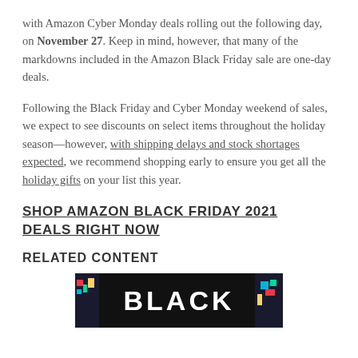with Amazon Cyber Monday deals rolling out the following day, on November 27. Keep in mind, however, that many of the markdowns included in the Amazon Black Friday sale are one-day deals.
Following the Black Friday and Cyber Monday weekend of sales, we expect to see discounts on select items throughout the holiday season—however, with shipping delays and stock shortages expected, we recommend shopping early to ensure you get all the holiday gifts on your list this year.
SHOP AMAZON BLACK FRIDAY 2021 DEALS RIGHT NOW
RELATED CONTENT
[Figure (photo): A dark banner image with the word BLACK visible in large white letters on a dark background with colorful light accents]